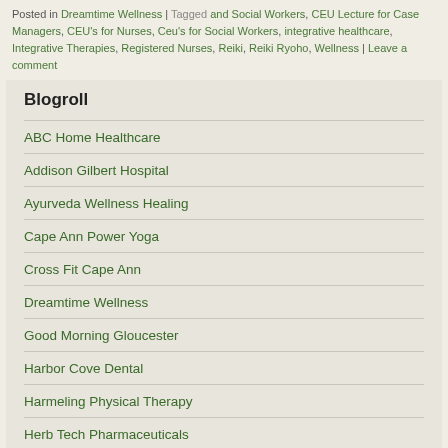Posted in Dreamtime Wellness | Tagged and Social Workers, CEU Lecture for Case Managers, CEU's for Nurses, Ceu's for Social Workers, integrative healthcare, Integrative Therapies, Registered Nurses, Reiki, Reiki Ryoho, Wellness | Leave a comment
Blogroll
ABC Home Healthcare
Addison Gilbert Hospital
Ayurveda Wellness Healing
Cape Ann Power Yoga
Cross Fit Cape Ann
Dreamtime Wellness
Good Morning Gloucester
Harbor Cove Dental
Harmeling Physical Therapy
Herb Tech Pharmaceuticals
Manchester Athletic Club